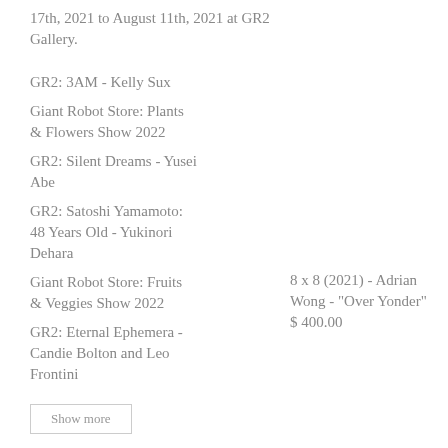17th, 2021 to August 11th, 2021 at GR2 Gallery.
GR2: 3AM - Kelly Sux
Giant Robot Store: Plants & Flowers Show 2022
GR2: Silent Dreams - Yusei Abe
GR2: Satoshi Yamamoto: 48 Years Old - Yukinori Dehara
Giant Robot Store: Fruits & Veggies Show 2022
GR2: Eternal Ephemera - Candie Bolton and Leo Frontini
8 x 8 (2021) - Adrian Wong - "Over Yonder"
$ 400.00
Show more